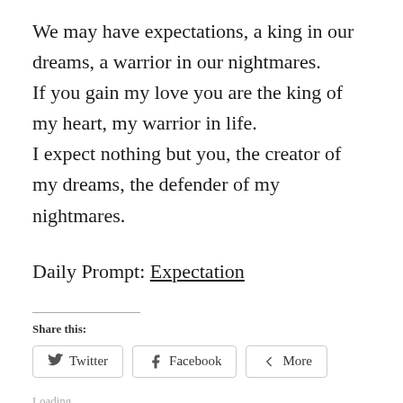We may have expectations, a king in our dreams, a warrior in our nightmares. If you gain my love you are the king of my heart, my warrior in life. I expect nothing but you, the creator of my dreams, the defender of my nightmares.
Daily Prompt: Expectation
Share this:
Twitter  Facebook  More
Loading...